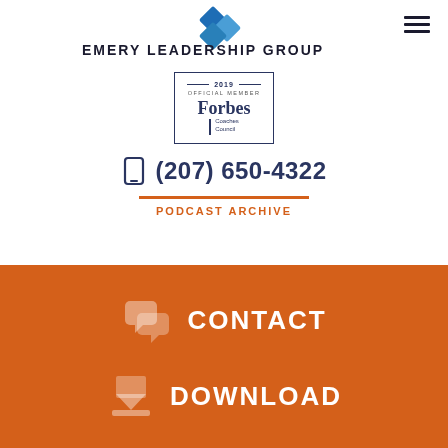[Figure (logo): Emery Leadership Group logo with blue diamond shapes and company name text]
[Figure (logo): Forbes Coaches Council 2019 Official Member badge]
(207) 650-4322
PODCAST ARCHIVE
CONTACT
DOWNLOAD